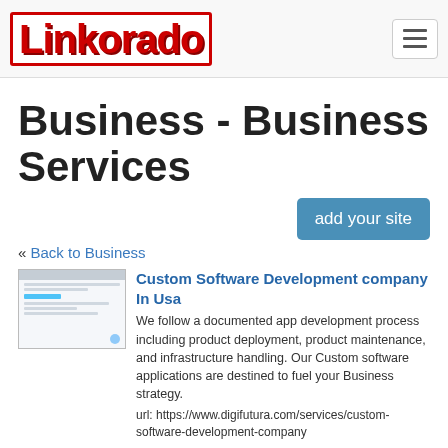Linkorado
Business - Business Services
add your site
« Back to Business
[Figure (screenshot): Thumbnail screenshot of a website showing a form or dashboard interface with blue UI elements]
Custom Software Development company In Usa
We follow a documented app development process including product deployment, product maintenance, and infrastructure handling. Our Custom software applications are destined to fuel your Business strategy.
url: https://www.digifutura.com/services/custom-software-development-company